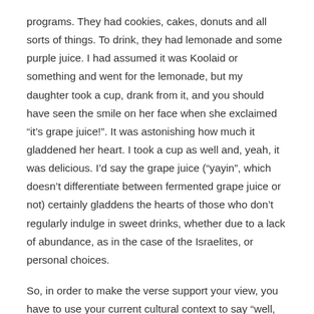programs. They had cookies, cakes, donuts and all sorts of things. To drink, they had lemonade and some purple juice. I had assumed it was Koolaid or something and went for the lemonade, but my daughter took a cup, drank from it, and you should have seen the smile on her face when she exclaimed “it’s grape juice!”. It was astonishing how much it gladdened her heart. I took a cup as well and, yeah, it was delicious. I’d say the grape juice (“yayin”, which doesn’t differentiate between fermented grape juice or not) certainly gladdens the hearts of those who don’t regularly indulge in sweet drinks, whether due to a lack of abundance, as in the case of the Israelites, or personal choices.
So, in order to make the verse support your view, you have to use your current cultural context to say “well, what else could it be”. My understanding is that’s bad exegesis. So, I’d say that’s not a clear-cut verse and is too ambiguous to